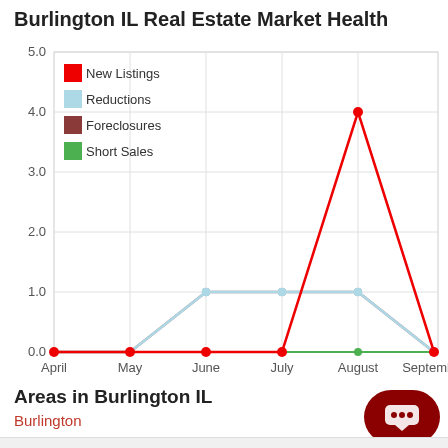Burlington IL Real Estate Market Health
[Figure (line-chart): Burlington IL Real Estate Market Health]
Areas in Burlington IL
Burlington